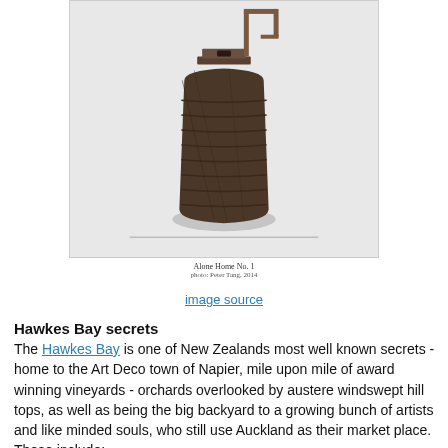[Figure (photo): A dark metallic sculptural object resembling a ribbed cylindrical container with a flat square top piece and an angled metal arm, photographed against a light grey background. Artwork titled 'Alone Home No. 1', photo by Peter Tang, 2014.]
Alone Home No. 1
photo: Peter Tang, 2014
image source
Hawkes Bay secrets
The Hawkes Bay is one of New Zealands most well known secrets - home to the Art Deco town of Napier, mile upon mile of award winning vineyards - orchards overlooked by austere windswept hill tops, as well as being the big backyard to a growing bunch of artists and like minded souls, who still use Auckland as their market place. These include: